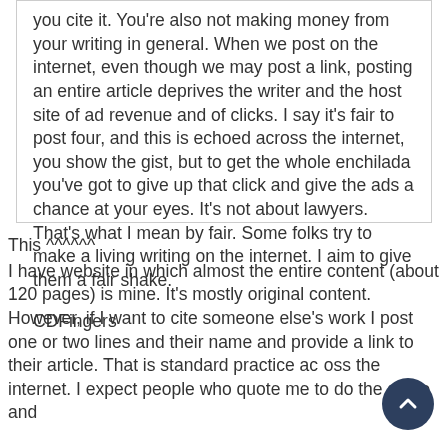you cite it. You're also not making money from your writing in general. When we post on the internet, even though we may post a link, posting an entire article deprives the writer and the host site of ad revenue and of clicks. I say it's fair to post four, and this is echoed across the internet, you show the gist, but to get the whole enchilada you've got to give up that click and give the ads a chance at your eyes. It's not about lawyers. That's what I mean by fair. Some folks try to make a living writing on the internet. I aim to give them a fair shake.
CDFingers
This ^^^^^^
I have website in which almost the entire content (about 120 pages) is mine. It's mostly original content. However, if I want to cite someone else's work I post one or two lines and their name and provide a link to their article. That is standard practice across the internet. I expect people who quote me to do the same and